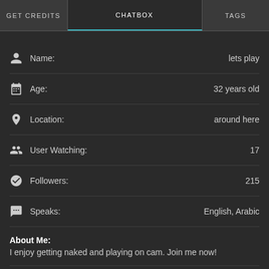GET CREDITS | CHATBOX | TAGS
Name: lets play
Age: 32 years old
Location: around here
User Watching: 17
Followers: 215
Speaks: English, Arabic
About Me:
I enjoy getting naked and playing on cam. Join me now!
Things I Like:
down for what ever
What Turns Me On:
Guys with tokens who want to have fun with me!
What Turns Me Off: